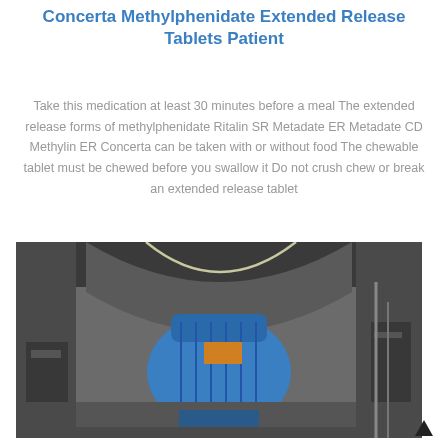Concerta Methylphenidate Extended Release Tablets Patient
Take this medication at least 30 minutes before a meal The extended release forms of methylphenidate Ritalin SR Metadate ER Metadate CD Methylin ER Concerta can be taken with or without food The chewable tablet must be chewed before you swallow it Do not crush chew or break an extended release tablet
[Figure (photo): Industrial machinery in a factory or workshop setting, showing a large blue motor or pump unit mounted between heavy metal press frames, with cables and equipment visible in the background.]